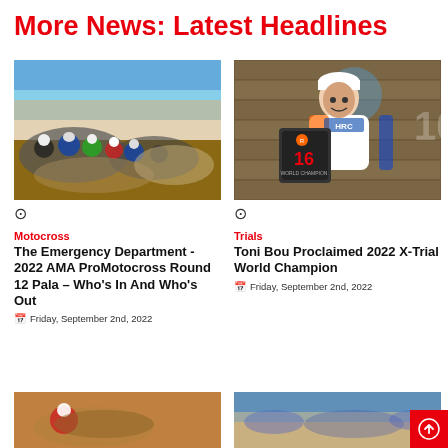More News: Latest Headlines
[Figure (photo): Group of motocross riders racing on a dirt track with dust clouds, spectators and banners in background]
Motocross
The Emergency Department - 2022 AMA ProMotocross Round 12 Pala – Who's In And Who's Out
Friday, September 2nd, 2022
[Figure (photo): Toni Bou smiling and holding a Repsol Honda plaque celebrating his 2022 X-Trial World Championship title, wearing HRC white jersey]
Trials
Toni Bou Proclaimed 2022 X-Trial World Champion
Friday, September 2nd, 2022
[Figure (photo): Motocross rider in red gear on dusty terrain]
[Figure (photo): Crowd of spectators at a motorsport event on dusty flat terrain]